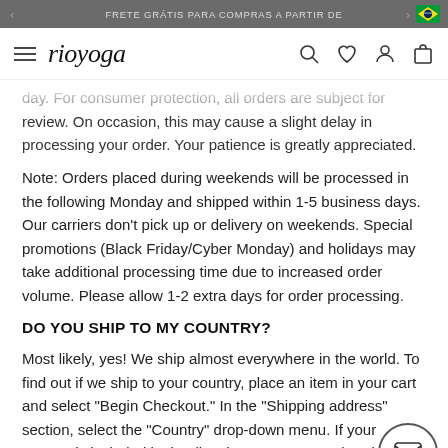FRETE GRÁTIS PARA COMPRAS A PARTIR DE
day. For consumer protection, all orders are subject for review. On occasion, this may cause a slight delay in processing your order. Your patience is greatly appreciated.
Note: Orders placed during weekends will be processed in the following Monday and shipped within 1-5 business days. Our carriers don't pick up or delivery on weekends. Special promotions (Black Friday/Cyber Monday) and holidays may take additional processing time due to increased order volume. Please allow 1-2 extra days for order processing.
DO YOU SHIP TO MY COUNTRY?
Most likely, yes! We ship almost everywhere in the world. To find out if we ship to your country, place an item in your cart and select "Begin Checkout." In the "Shipping address" section, select the "Country" drop-down menu. If your country is included in that list, then you can go ahead and